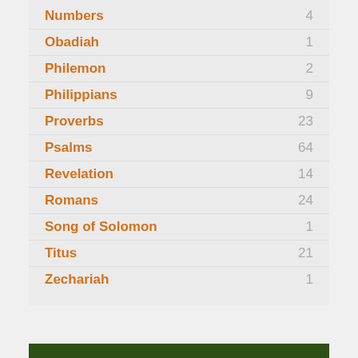Numbers 4
Obadiah 1
Philemon 2
Philippians 9
Proverbs 23
Psalms 64
Revelation 14
Romans 24
Song of Solomon 1
Titus 21
Zechariah 1
Speakers